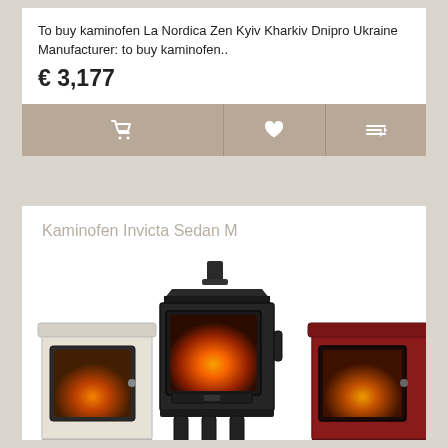To buy kaminofen La Nordica Zen Kyiv Kharkiv Dnipro Ukraine Manufacturer: to buy kaminofen..
€ 3,177
[Figure (other): Action bar with shopping cart icon, heart/favourite icon, and compare/filter icon on a taupe/brown background]
Kaminofen Invicta Sedan M
[Figure (photo): Three wood-burning stoves/kaminofens: a central dark/black cast iron stove with glass door showing flames, a smaller cream/white enamel stove on the left, and a dark red/burgundy enamel stove on the right, all showing legs and glass fire-viewing windows.]